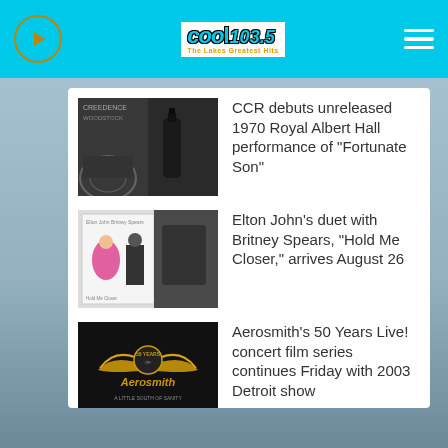Cool 103.5 – The Lakes Greatest Hits
CCR debuts unreleased 1970 Royal Albert Hall performance of "Fortunate Son"
Elton John's duet with Britney Spears, "Hold Me Closer," arrives August 26
Aerosmith's 50 Years Live! concert film series continues Friday with 2003 Detroit show